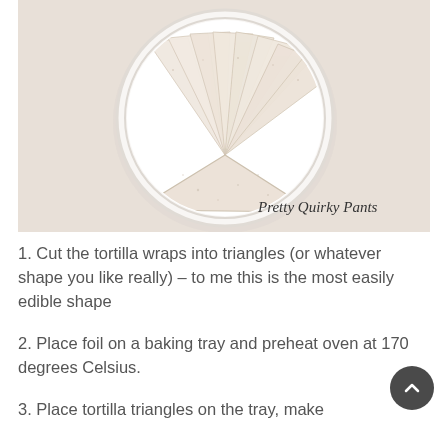[Figure (photo): Photo of tortilla wraps cut into triangles arranged on a white plate on a light pinkish background. Watermark text reads 'Pretty Quirky Pants' in cursive script at bottom right of image.]
1. Cut the tortilla wraps into triangles (or whatever shape you like really) – to me this is the most easily edible shape
2. Place foil on a baking tray and preheat oven at 170 degrees Celsius.
3. Place tortilla triangles on the tray, make